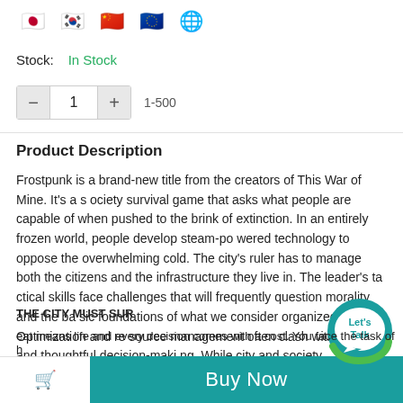[Figure (illustration): Row of circular flag icons: Japan, South Korea, China, European Union, and a globe/world icon]
Stock:   In Stock
Quantity selector: minus button, 1, plus button, 1-500
Product Description
Frostpunk is a brand-new title from the creators of This War of Mine. It's a society survival game that asks what people are capable of when pushed to the brink of extinction. In an entirely frozen world, people develop steam-powered technology to oppose the overwhelming cold. The city's ruler has to manage both the citizens and the infrastructure they live in. The leader's tactical skills face challenges that will frequently question morality and the basic foundations of what we consider organized society. Optimization and resource management often clash with empathy and thoughtful decision-making. While city and society management will consume most of the ruler's time, at some point exploration of the outside world is necessary to understand its history and present state.
THE CITY MUST SUR
eat means life and every decision comes with a cost. You face the task of h
Buy Now
[Figure (logo): Let's Talk chat bubble logo in teal and green]